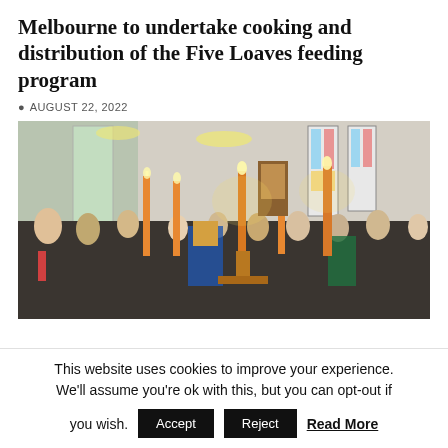Melbourne to undertake cooking and distribution of the Five Loaves feeding program
AUGUST 22, 2022
[Figure (photo): Interior of an Orthodox church filled with congregation holding lit candles; a priest in blue and gold vestments stands at the front near ornate candelabras; stained glass windows visible in background.]
This website uses cookies to improve your experience. We'll assume you're ok with this, but you can opt-out if you wish. Accept Reject Read More